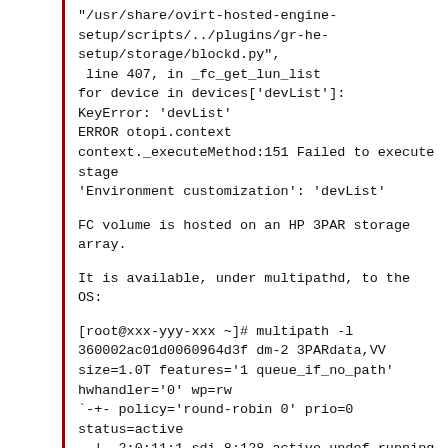"/usr/share/ovirt-hosted-engine-setup/scripts/../plugins/gr-he-setup/storage/blockd.py",
 line 407, in _fc_get_lun_list
for device in devices['devList']:
KeyError: 'devList'
ERROR otopi.context
context._executeMethod:151 Failed to execute stage
'Environment customization': 'devList'
FC volume is hosted on an HP 3PAR storage array.
It is available, under multipathd, to the OS:
[root@xxx-yyy-xxx ~]# multipath -l
360002ac01d0060964d3f dm-2 3PARdata,VV
size=1.0T features='1 queue_if_no_path'
hwhandler='0' wp=rw
`-+- policy='round-robin 0' prio=0 status=active
  |- 2:0:11:1 sdi 8:128 active undef running